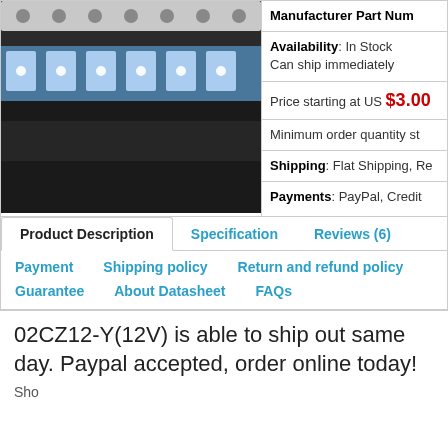[Figure (photo): Close-up photo of electronic components (SMD/LED strip) on tape reel, dark background with blue light strip]
| Field | Value |
| --- | --- |
| Manufacturer Part Num | (truncated, cut off) |
| Availability | In Stock
Can ship immediately |
| Price starting at | US $3.00 |
| Minimum order quantity st | (truncated) |
| Shipping | Flat Shipping, Re(truncated) |
| Payments | PayPal, Credit (truncated) |
Product Description | Specification | Reviews (6) | Payment | Shipping policy | Return and refund policy | Guarantee | About Datasheet | FAQs
02CZ12-Y(12V) is able to ship out same day. Paypal accepted, order online today!
Sho...